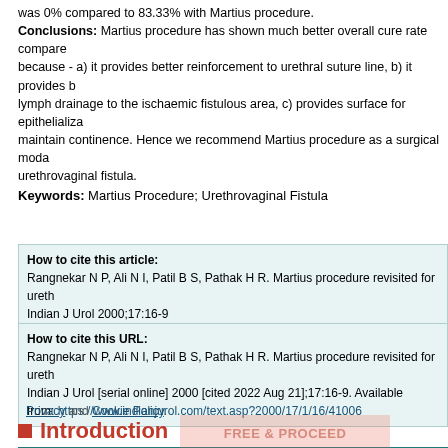was 0% compared to 83.33% with Martius procedure. Conclusions: Martius procedure has shown much better overall cure rate compared because - a) it provides better reinforcement to urethral suture line, b) it provides b lymph drainage to the ischaemic fistulous area, c) provides surface for epithelializa maintain continence. Hence we recommend Martius procedure as a surgical moda urethrovaginal fistula.
Keywords: Martius Procedure; Urethrovaginal Fistula
How to cite this article:
Rangnekar N P, Ali N I, Patil B S, Pathak H R. Martius procedure revisited for ureth Indian J Urol 2000;17:16-9
How to cite this URL:
Rangnekar N P, Ali N I, Patil B S, Pathak H R. Martius procedure revisited for ureth Indian J Urol [serial online] 2000 [cited 2022 Aug 21];17:16-9. Available from: https://www.indianjurol.com/text.asp?2000/17/1/16/41006
Introduction